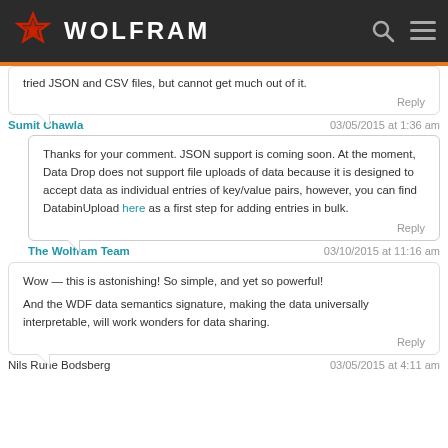WOLFRAM
tried JSON and CSV files, but cannot get much out of it.
Reply
Sumit Chawla
03/05/2015 at 1:36 am
Thanks for your comment. JSON support is coming soon. At the moment, Data Drop does not support file uploads of data because it is designed to accept data as individual entries of key/value pairs, however, you can find DatabinUpload here as a first step for adding entries in bulk.
Reply
The Wolfram Team
03/10/2015 at 11:16 am
Wow — this is astonishing! So simple, and yet so powerful!

And the WDF data semantics signature, making the data universally interpretable, will work wonders for data sharing.
Reply
Nils Rune Bodsberg
03/05/2015 at 4:11 am